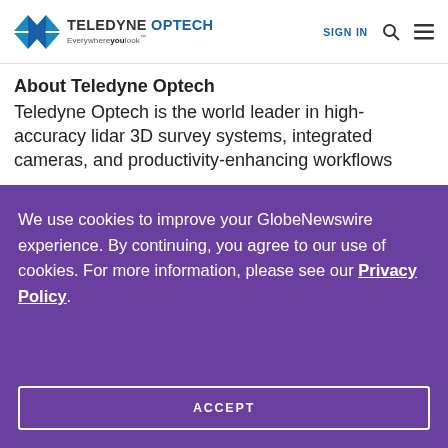[Figure (logo): Teledyne Optech logo with blue bird/wings icon and tagline 'Everywhereyoulook']
SIGN IN
About Teledyne Optech
Teledyne Optech is the world leader in high-accuracy lidar 3D survey systems, integrated cameras, and productivity-enhancing workflows
We use cookies to improve your GlobeNewswire experience. By continuing, you agree to our use of cookies. For more information, please see our Privacy Policy.
ACCEPT